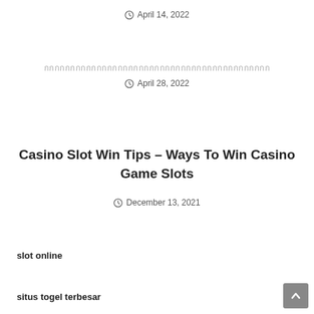April 14, 2022
กกกกกกกกกกกกกกกกกกกกกกกกกกกกกกกกกกกกกกกกกกก
April 28, 2022
Casino Slot Win Tips – Ways To Win Casino Game Slots
December 13, 2021
slot online
situs togel terbesar